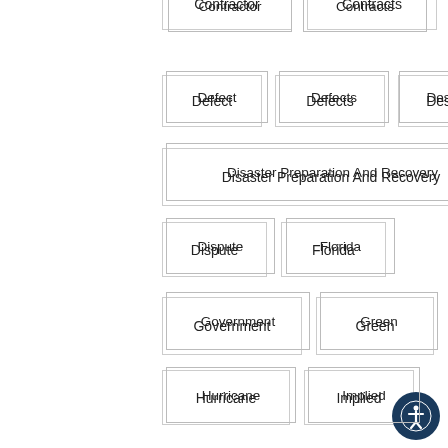Contractor
Contracts
Defect
Defects
Design
Disaster Preparation And Recovery
Dispute
Florida
Government
Green
Hurricane
Implied
Insurance
Lakeview
Law
Leed
Legislation
Liability
Lien
Limitations
Litigation
Maronda
Of
Partnership